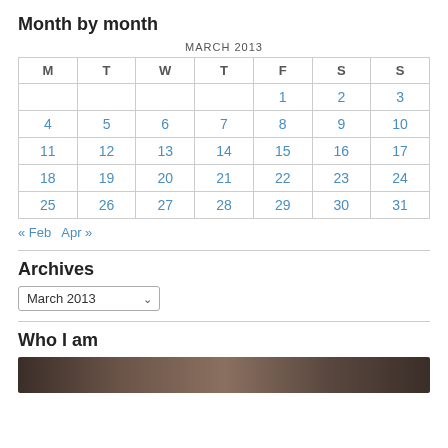Month by month
| M | T | W | T | F | S | S |
| --- | --- | --- | --- | --- | --- | --- |
|  |  |  |  | 1 | 2 | 3 |
| 4 | 5 | 6 | 7 | 8 | 9 | 10 |
| 11 | 12 | 13 | 14 | 15 | 16 | 17 |
| 18 | 19 | 20 | 21 | 22 | 23 | 24 |
| 25 | 26 | 27 | 28 | 29 | 30 | 31 |
« Feb   Apr »
Archives
March 2013 (dropdown)
Who I am
[Figure (photo): Partial photo visible at bottom of page]